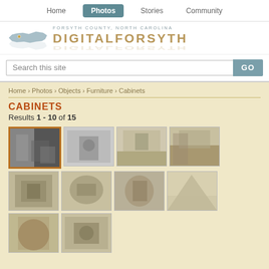Home | Photos | Stories | Community
[Figure (screenshot): DigitalForsyth website header with North Carolina map logo and site name 'DIGITALFORSYTH' with subtitle 'FORSYTH COUNTY, NORTH CAROLINA']
Search this site
Home › Photos › Objects › Furniture › Cabinets
CABINETS
Results 1 - 10 of 15
[Figure (photo): Grid of 10 black-and-white historical photographs showing various scenes involving cabinets and people.]